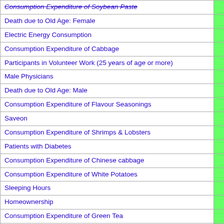| Item |  |
| --- | --- |
| Consumption Expenditure of Soybean Paste |  |
| Death due to Old Age: Female |  |
| Electric Energy Consumption |  |
| Consumption Expenditure of Cabbage |  |
| Participants in Volunteer Work (25 years of age or more) |  |
| Male Physicians |  |
| Death due to Old Age: Male |  |
| Consumption Expenditure of Flavour Seasonings |  |
| Saveon |  |
| Consumption Expenditure of Shrimps & Lobsters |  |
| Patients with Diabetes |  |
| Consumption Expenditure of Chinese cabbage |  |
| Consumption Expenditure of White Potatoes |  |
| Sleeping Hours |  |
| Homeownership |  |
| Consumption Expenditure of Green Tea |  |
| Patients with Hypertension (aged 65 or above) |  |
| Consumption Expenditure of “Shimeji”, mushrooms |  |
| Rate of Intraregional Railway Passenger Transport |  |